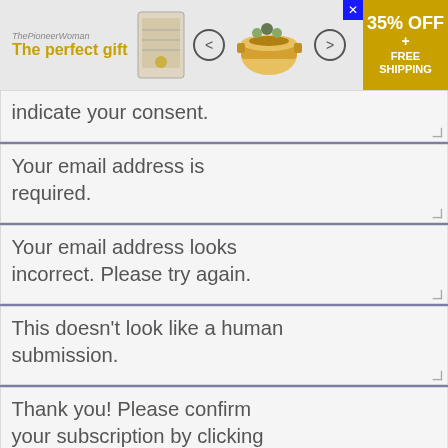[Figure (screenshot): Ad banner for 'The perfect gift' featuring a cookbook and pot image, with navigation arrows and a gold promotional box showing '35% OFF + FREE SHIPPING'. A close button (x) is in the top right.]
Indicate your consent.
Your email address is required.
Your email address looks incorrect. Please try again.
This doesn't look like a human submission.
Thank you!  Please confirm your subscription by clicking on the link sent to your email
Newsletters
Don't miss our best posts, updates